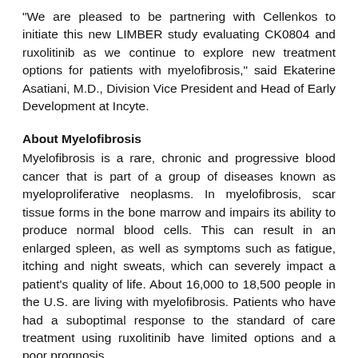“We are pleased to be partnering with Cellenkos to initiate this new LIMBER study evaluating CK0804 and ruxolitinib as we continue to explore new treatment options for patients with myelofibrosis,” said Ekaterine Asatiani, M.D., Division Vice President and Head of Early Development at Incyte.
About Myelofibrosis
Myelofibrosis is a rare, chronic and progressive blood cancer that is part of a group of diseases known as myeloproliferative neoplasms. In myelofibrosis, scar tissue forms in the bone marrow and impairs its ability to produce normal blood cells. This can result in an enlarged spleen, as well as symptoms such as fatigue, itching and night sweats, which can severely impact a patient’s quality of life. About 16,000 to 18,500 people in the U.S. are living with myelofibrosis. Patients who have had a suboptimal response to the standard of care treatment using ruxolitinib have limited options and a poor prognosis.